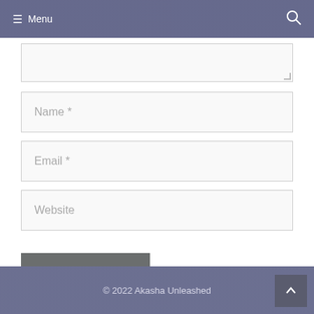Menu
[Figure (screenshot): Comment form text area (partially visible at top), partially cropped]
Name *
Email *
Website
Post Comment
© 2022 Akasha Unleashed